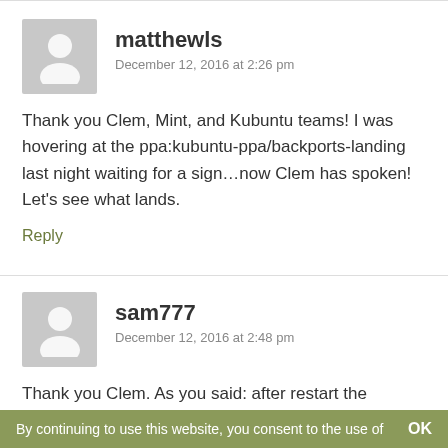matthewls
December 12, 2016 at 2:26 pm
Thank you Clem, Mint, and Kubuntu teams! I was hovering at the ppa:kubuntu-ppa/backports-landing last night waiting for a sign…now Clem has spoken! Let's see what lands.
Reply
sam777
December 12, 2016 at 2:48 pm
Thank you Clem. As you said: after restart the problem
By continuing to use this website, you consent to the use of    OK